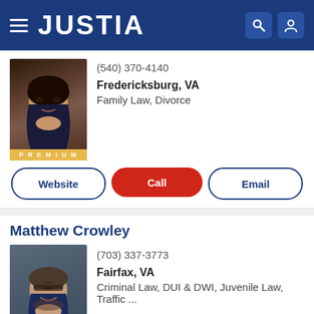JUSTIA
(540) 370-4140
Fredericksburg, VA
Family Law, Divorce
[Figure (photo): Female attorney headshot with PREMIUM badge]
Website | Call | Email
Matthew Crowley
[Figure (photo): Male attorney headshot with glasses and PREMIUM badge]
(703) 337-3773
Fairfax, VA
Criminal Law, DUI & DWI, Juvenile Law, Traffic ...
Website | Call | Email
Faraji A. Rosenthall